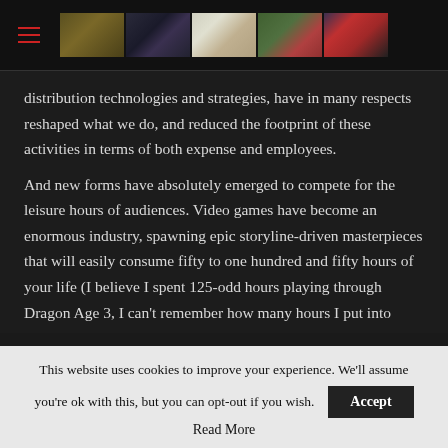[Header with hamburger menu and 5 thumbnail images]
distribution technologies and strategies, have in many respects reshaped what we do, and reduced the footprint of these activities in terms of both expense and employees.
And new forms have absolutely emerged to compete for the leisure hours of audiences. Video games have become an enormous industry, spawning epic storyline-driven masterpieces that will easily consume fifty to one hundred and fifty hours of your life (I believe I spent 125-odd hours playing through Dragon Age 3, I can't remember how many hours I put into Skyrim, and I never wanted to know how many hours I put into the final
This website uses cookies to improve your experience. We'll assume you're ok with this, but you can opt-out if you wish.
Accept
Read More